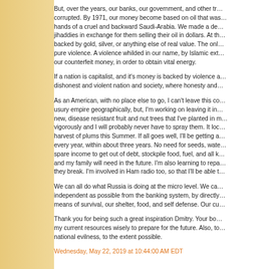But, over the years, our banks, our government, and other trusted entities became corrupted. By 1971, our money become based on oil that was sitting in the hands of a cruel and backward Saudi-Arabia. We made a deal with the jihaddies in exchange for them selling their oil in dollars. At this point, it's not backed by gold, silver, or anything else of real value. The only thing backing it is pure violence. A violence whilded in our name, by Islamic extremists, to protect our counterfeit money, in order to obtain vital energy.
If a nation is capitalist, and it's money is backed by violence and corruption, it's a dishonest and violent nation and society, where honesty and...
As an American, with no place else to go, I can't leave this corrupt banking and usury empire geographically, but, I'm working on leaving it in other ways. The new, disease resistant fruit and nut trees that I've planted in my backyard grow vigorously and I will probably never have to spray them. It looks like I'll get a harvest of plums this Summer. If all goes well, I'll be getting a harvest of free food every year, within about three years. No need for seeds, water, or soil. I use my spare income to get out of debt, stockpile food, fuel, and all kinds of things that I and my family will need in the future. I'm also learning to repair things when they break. I'm involved in Ham radio too, so that I'll be able t...
We can all do what Russia is doing at the micro level. We can all try to become independent as possible from the banking system, by directly controlling our own means of survival, our shelter, food, and self defense. Our cu...
Thank you for being such a great inspiration Dmitry. Your boo... I'm... using my current resources wisely to prepare for the future. Also, to... away from our national evilness, to the extent possible.
Wednesday, May 22, 2019 at 10:44:00 AM EDT